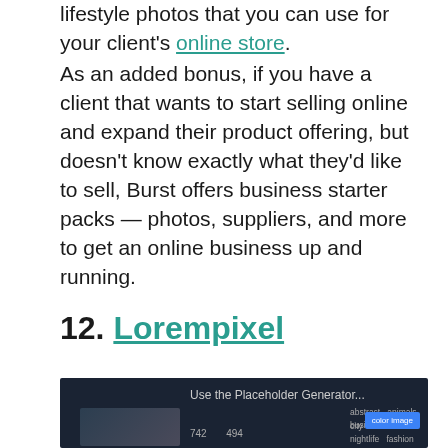lifestyle photos that you can use for your client's online store.
As an added bonus, if you have a client that wants to start selling online and expand their product offering, but doesn't know exactly what they'd like to sell, Burst offers business starter packs — photos, suppliers, and more to get an online business up and running.
12. Lorempixel
[Figure (screenshot): Screenshot of Lorempixel website showing a placeholder image generator interface with a dark background, category filters (abstract, animals, business, cats, city, food, nightlife, fashion), a blue 'color image' button, and image dimension inputs (742, 494).]